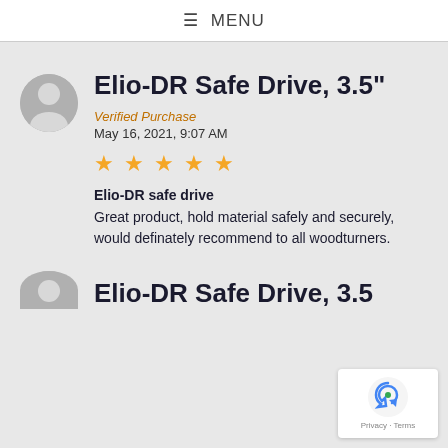≡ MENU
Elio-DR Safe Drive, 3.5"
Verified Purchase
May 16, 2021, 9:07 AM
[Figure (other): 4 out of 5 stars rating]
Elio-DR safe drive
Great product, hold material safely and securely, would definately recommend to all woodturners.
Elio-DR Safe Drive, 3.5